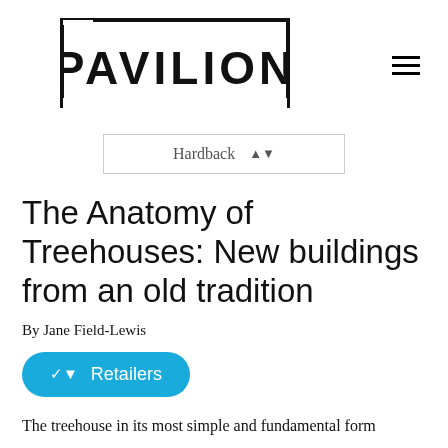PAVILION
Hardback
The Anatomy of Treehouses: New buildings from an old tradition
By Jane Field-Lewis
Retailers
The treehouse in its most simple and fundamental form